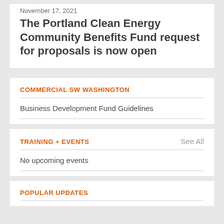November 17, 2021
The Portland Clean Energy Community Benefits Fund request for proposals is now open
COMMERCIAL SW WASHINGTON
Business Development Fund Guidelines
TRAINING + EVENTS
See All
No upcoming events
POPULAR UPDATES